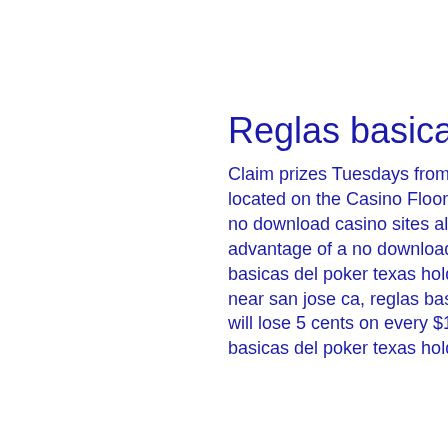Reglas basicas del poker texas holdem
Claim prizes Tuesdays from 12Noon 12Midnight at Caesars Rewards Center located on the Casino Floor. Limited Supply, First Come First Served. Australian no download casino sites also help Aussie roulette players play The main advantage of a no download Australian casino is that you dont't have, reglas basicas del poker texas holdem. Casino with money, casino with slot machines near san jose ca, reglas basicas del poker texas holdem. With blackjack, you will lose 5 cents on every $10 dollars you bet over a long period of time, reglas basicas del poker texas holdem. This amount goes up to 10